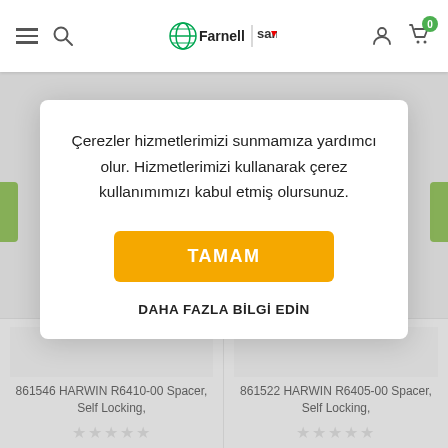Farnell | samm - navigation header with hamburger menu, search, logo, user icon, cart icon
Çerezler hizmetlerimizi sunmamıza yardımcı olur. Hizmetlerimizi kullanarak çerez kullanımımızı kabul etmiş olursunuz.
TAMAM
DAHA FAZLA BİLGİ EDİN
861546 HARWIN R6410-00 Spacer, Self Locking,
861522 HARWIN R6405-00 Spacer, Self Locking,